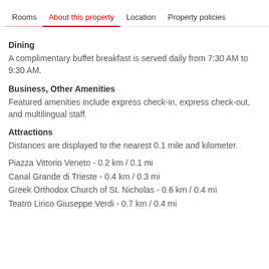Rooms   About this property   Location   Property policies
Dining
A complimentary buffet breakfast is served daily from 7:30 AM to 9:30 AM.
Business, Other Amenities
Featured amenities include express check-in, express check-out, and multilingual staff.
Attractions
Distances are displayed to the nearest 0.1 mile and kilometer.
Piazza Vittorio Veneto - 0.2 km / 0.1 mi
Canal Grande di Trieste - 0.4 km / 0.3 mi
Greek Orthodox Church of St. Nicholas - 0.6 km / 0.4 mi
Teatro Lirico Giuseppe Verdi - 0.7 km / 0.4 mi